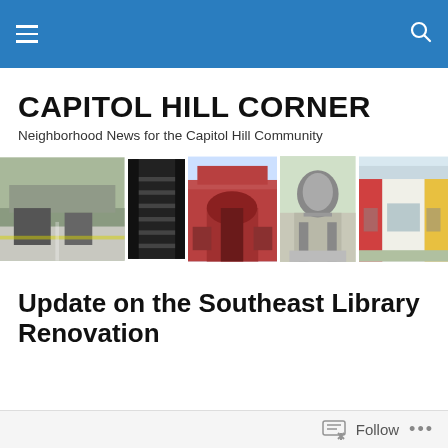Navigation bar with menu and search icons
CAPITOL HILL CORNER
Neighborhood News for the Capitol Hill Community
[Figure (photo): Five neighborhood photos in a horizontal strip: street with overpass and parked cars, dark escalator interior, red brick building facade with arched entrance, domed government building, modern colorful apartment building]
Update on the Southeast Library Renovation
Follow  •••